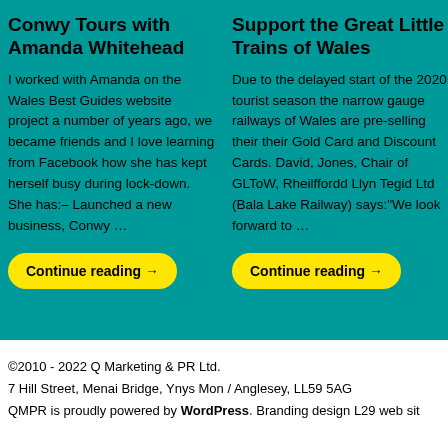Conwy Tours with Amanda Whitehead
I worked with Amanda on the Wales Best Guides website project a number of years ago, we became friends and I love learning from Facebook how she has kept herself busy during lock-down. She has:– Launched a new business, Conwy …
Continue reading →
Support the Great Little Trains of Wales
Due to the delayed start of the 2020 tourist season the narrow gauge railways of Wales are pre-selling their their Gold Card and Discount Cards. David, Jones, Chair of GLToW, Rheilffordd Llyn Tegid Ltd (Bala Lake Railway) says:"We look forward to …
Continue reading →
©2010 - 2022 Q Marketing & PR Ltd.
7 Hill Street, Menai Bridge, Ynys Mon / Anglesey, LL59 5AG
QMPR is proudly powered by WordPress. Branding design L29 web sit